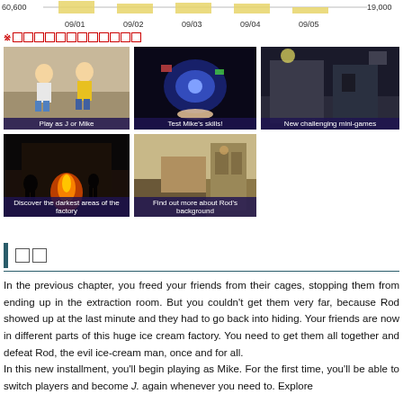[Figure (bar-chart): Daily chart 09/01–09/05]
※ [Japanese notice text with boxes]
[Figure (screenshot): Play as J or Mike - screenshot showing two boys]
[Figure (screenshot): Test Mike's skills! - screenshot showing space/tech scene]
[Figure (screenshot): New challenging mini-games - screenshot showing alley/exterior]
[Figure (screenshot): Discover the darkest areas of the factory - screenshot showing factory interior with fire]
[Figure (screenshot): Find out more about Rod's background - screenshot showing room interior]
□□
In the previous chapter, you freed your friends from their cages, stopping them from ending up in the extraction room. But you couldn't get them very far, because Rod showed up at the last minute and they had to go back into hiding. Your friends are now in different parts of this huge ice cream factory. You need to get them all together and defeat Rod, the evil ice-cream man, once and for all.
In this new installment, you'll begin playing as Mike. For the first time, you'll be able to switch players and become J. again whenever you need to. Explore